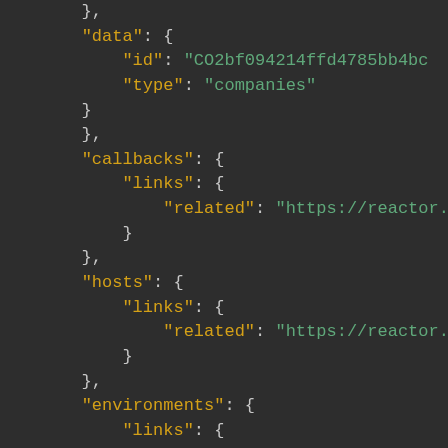JSON code snippet showing data, callbacks, hosts, and environments fields with links